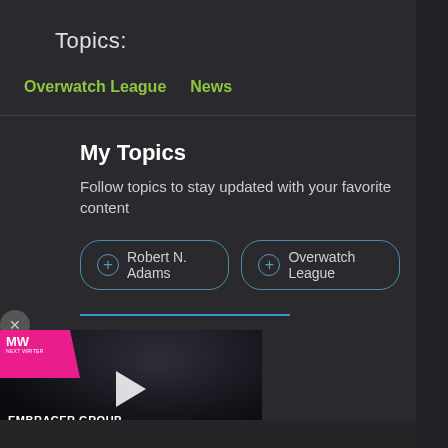Topics:
Overwatch League
News
My Topics
Follow topics to stay updated with your favorite content
+ Robert N. Adams
+ Overwatch League
[Figure (screenshot): Video thumbnail showing a dark figure with MW logo badge in top-left corner. Text overlay reads 'EMBRACER GROUP BUY LOTR RIGHTS' with a play button icon.]